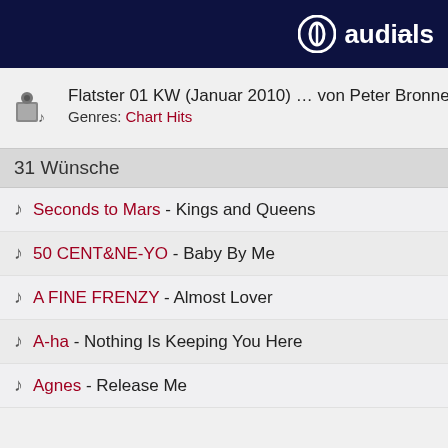audials
Flatster 01 KW (Januar 2010) ... von Peter Bronne
Genres: Chart Hits
31 Wünsche
Seconds to Mars - Kings and Queens
50 CENT&NE-YO - Baby By Me
A FINE FRENZY - Almost Lover
A-ha - Nothing Is Keeping You Here
Agnes - Release Me